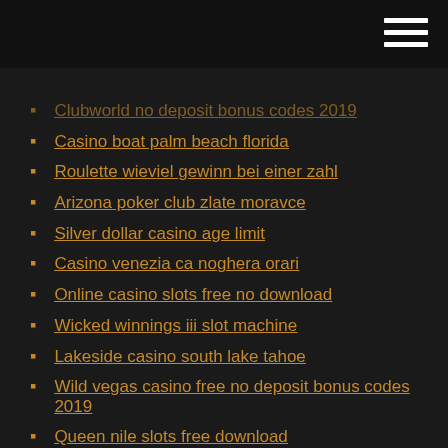Clubworld no deposit bonus codes 2019
Casino boat palm beach florida
Roulette wieviel gewinn bei einer zahl
Arizona poker club zlate moravce
Silver dollar casino age limit
Casino venezia ca noghera orari
Online casino slots free no download
Wicked winnings iii slot machine
Lakeside casino south lake tahoe
Wild vegas casino free no deposit bonus codes 2019
Queen nile slots free download
Best online casino with no verification
Apartamentos roulette es pujols formentera
Four kings omaha poker league
Blackjack for fun